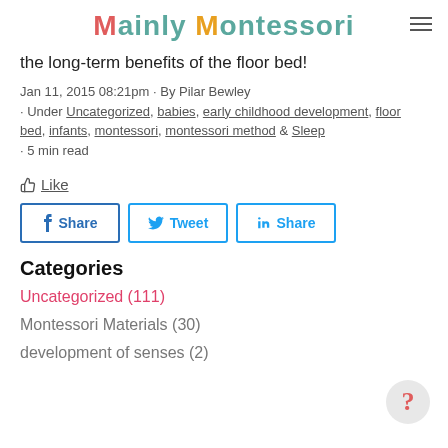Mainly Montessori
the long-term benefits of the floor bed!
Jan 11, 2015 08:21pm · By Pilar Bewley
· Under Uncategorized, babies, early childhood development, floor bed, infants, montessori, montessori method & Sleep
· 5 min read
Like
[Figure (infographic): Social share buttons: f Share, Tweet, in Share]
Categories
Uncategorized (111)
Montessori Materials (30)
development of senses (2)